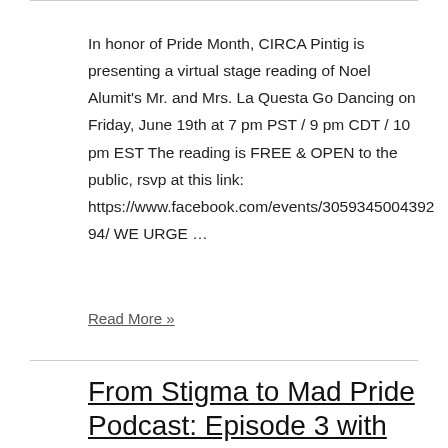In honor of Pride Month, CIRCA Pintig is presenting a virtual stage reading of Noel Alumit's Mr. and Mrs. La Questa Go Dancing on Friday, June 19th at 7 pm PST / 9 pm CDT / 10 pm EST The reading is FREE & OPEN to the public, rsvp at this link: https://www.facebook.com/events/305934500439294/ WE URGE …
Read More »
From Stigma to Mad Pride Podcast: Episode 3 with